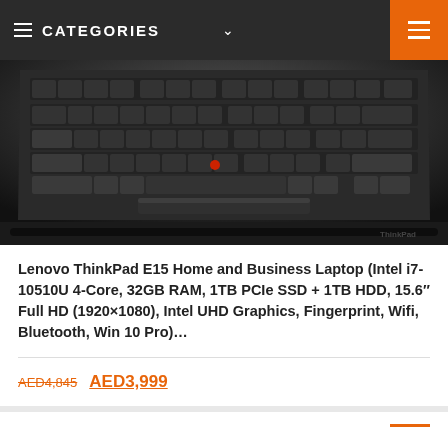CATEGORIES
[Figure (photo): Lenovo ThinkPad E15 laptop keyboard and trackpad, viewed from above at an angle, black chassis]
Lenovo ThinkPad E15 Home and Business Laptop (Intel i7-10510U 4-Core, 32GB RAM, 1TB PCIe SSD + 1TB HDD, 15.6″ Full HD (1920×1080), Intel UHD Graphics, Fingerprint, Wifi, Bluetooth, Win 10 Pro)...
AED4,845  AED3,999
Get This Deal